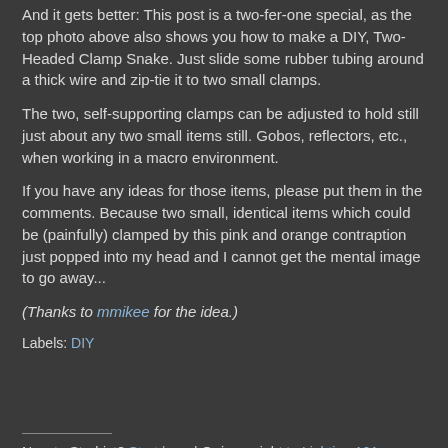And it gets better: This post is a two-fer-one special, as the top photo above also shows you how to make a DIY, Two-Headed Clamp Snake. Just slide some rubber tubing around a thick wire and zip-tie it to two small clamps.
The two, self-supporting clamps can be adjusted to hold still just about any two small items still. Gobos, reflectors, etc., when working in a macro environment.
If you have any ideas for those items, please put them in the comments. Because two small, identical items which could be (painfully) clamped by this pink and orange contraption just popped into my head and I cannot get the mental image to go away...
(Thanks to mmikee for the idea.)
Labels: DIY
New to Strobist? Start here | Or jump right to Lighting 101